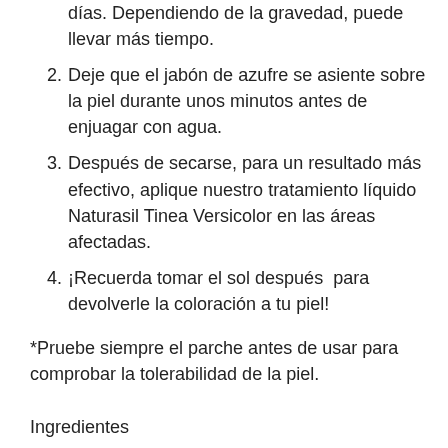días. Dependiendo de la gravedad, puede llevar más tiempo.
2. Deje que el jabón de azufre se asiente sobre la piel durante unos minutos antes de enjuagar con agua.
3. Después de secarse, para un resultado más efectivo, aplique nuestro tratamiento líquido Naturasil Tinea Versicolor en las áreas afectadas.
4. ¡Recuerda tomar el sol después  para devolverle la coloración a tu piel!
*Pruebe siempre el parche antes de usar para comprobar la tolerabilidad de la piel.
Ingredientes